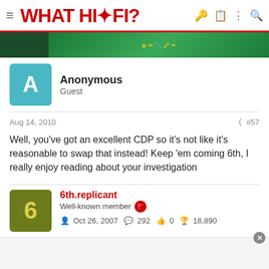WHAT HI-FI?
[Figure (photo): Ad banner with Sonic and school supplies on green background]
Anonymous
Guest
Aug 14, 2010  #57
Well, you've got an excellent CDP so it's not like it's reasonable to swap that instead! Keep 'em coming 6th, I really enjoy reading about your investigation
6th.replicant
Well-known member
Oct 26, 2007  292  0  18,890